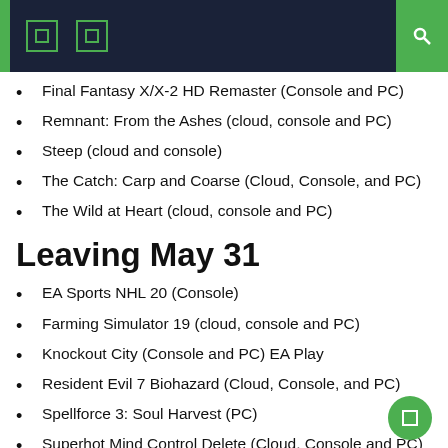Final Fantasy X/X-2 HD Remaster (Console and PC)
Remnant: From the Ashes (cloud, console and PC)
Steep (cloud and console)
The Catch: Carp and Coarse (Cloud, Console, and PC)
The Wild at Heart (cloud, console and PC)
Leaving May 31
EA Sports NHL 20 (Console)
Farming Simulator 19 (cloud, console and PC)
Knockout City (Console and PC) EA Play
Resident Evil 7 Biohazard (Cloud, Console, and PC)
Spellforce 3: Soul Harvest (PC)
Superhot Mind Control Delete (Cloud, Console and PC)
Yes Your Grace (Cloud, Console and PC)
First, your Game Pass subscription to have to not currently active, and you have to not have a subscription. C...